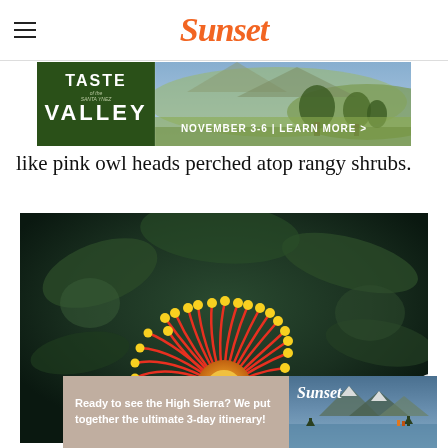Sunset
[Figure (photo): Advertisement banner for 'Taste of the Valley' event, November 3-6, with vineyard landscape background and 'Learn More >' call to action]
like pink owl heads perched atop rangy shrubs.
[Figure (photo): Close-up photograph of a red and orange pincushion protea flower (Leucospermum) with curving stamens topped with yellow pollen balls, against a blurred green foliage background]
[Figure (photo): Advertisement banner for Sunset magazine High Sierra 3-day itinerary, with mountain lake landscape photo and Sunset logo]